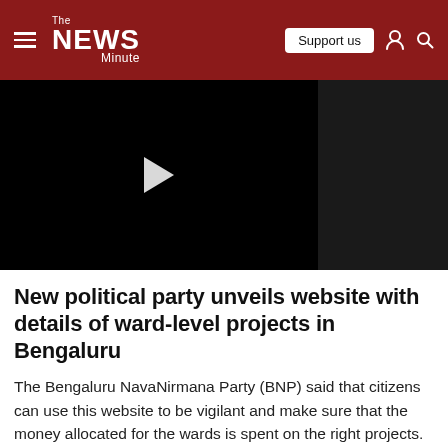The NEWS Minute — Support us
[Figure (screenshot): Video player area with play button. Left portion is black with white play triangle, right portion is dark gray.]
New political party unveils website with details of ward-level projects in Bengaluru
The Bengaluru NavaNirmana Party (BNP) said that citizens can use this website to be vigilant and make sure that the money allocated for the wards is spent on the right projects.
[Figure (photo): Bottom portion of a photo showing trees and foliage in Bengaluru.]